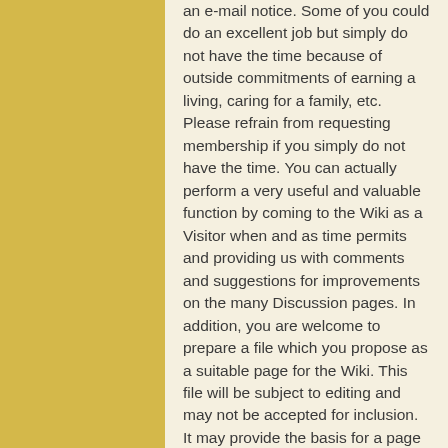an e-mail notice. Some of you could do an excellent job but simply do not have the time because of outside commitments of earning a living, caring for a family, etc. Please refrain from requesting membership if you simply do not have the time. You can actually perform a very useful and valuable function by coming to the Wiki as a Visitor when and as time permits and providing us with comments and suggestions for improvements on the many Discussion pages. In addition, you are welcome to prepare a file which you propose as a suitable page for the Wiki. This file will be subject to editing and may not be accepted for inclusion. It may provide the basis for a page that is a greatly edited version of your file but valuable for inclusion in this edited form. Your ideas will be considered and are